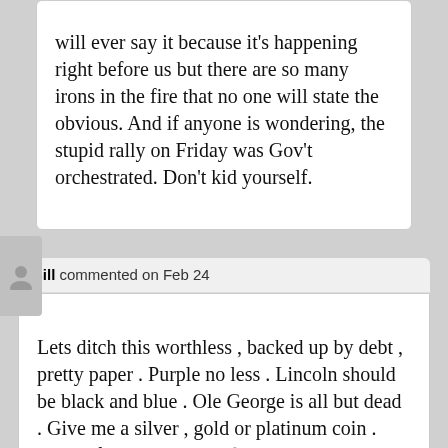will ever say it because it's happening right before us but there are so many irons in the fire that no one will state the obvious. And if anyone is wondering, the stupid rally on Friday was Gov't orchestrated. Don't kid yourself.
Bill commented on Feb 24
Lets ditch this worthless , backed up by debt , pretty paper . Purple no less . Lincoln should be black and blue . Ole George is all but dead . Give me a silver , gold or platinum coin . None of this paper goat fodder . And all wonder at the commodity boom . Rather hold real or